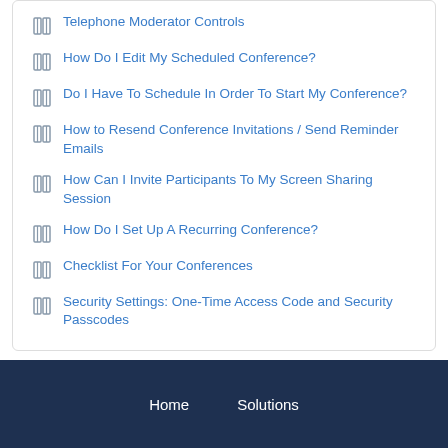Telephone Moderator Controls
How Do I Edit My Scheduled Conference?
Do I Have To Schedule In Order To Start My Conference?
How to Resend Conference Invitations / Send Reminder Emails
How Can I Invite Participants To My Screen Sharing Session
How Do I Set Up A Recurring Conference?
Checklist For Your Conferences
Security Settings: One-Time Access Code and Security Passcodes
Home   Solutions